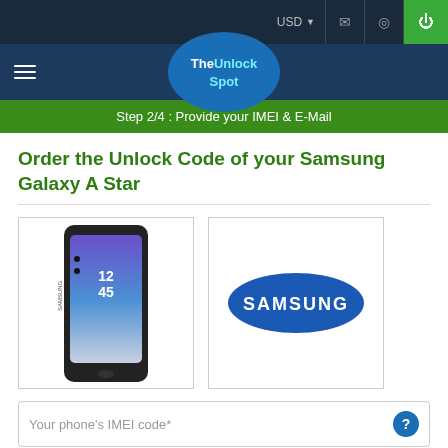USD
[Figure (logo): TheUnlockSpot logo in a blue circle on dark navy navigation bar]
Step 2/4 : Provide your IMEI & E-Mail
Order the Unlock Code of your Samsung Galaxy A Star
[Figure (photo): Samsung Galaxy A Star smartphone photo]
[Figure (logo): Samsung brand logo oval blue with white text SAMSUNG]
Your phone's IMEI code*